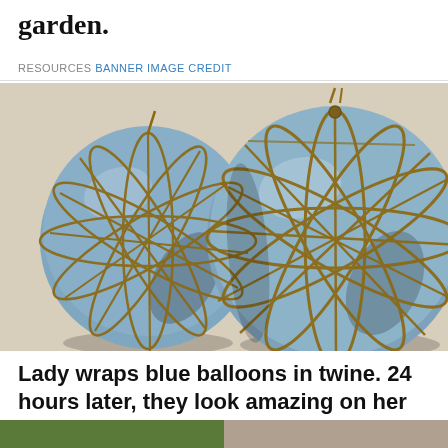garden.
RESOURCES BANNER IMAGE CREDIT
[Figure (photo): Two blue decorative spheres/balls wrapped tightly in brown twine/jute, photographed against a cream/beige background. The twine crisscrosses in various directions around the blue balloon forms.]
Lady wraps blue balloons in twine. 24 hours later, they look amazing on her patio
BY ELIZABETH OWEN